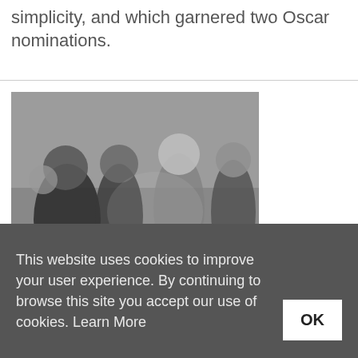simplicity, and which garnered two Oscar nominations.
[Figure (photo): Black and white photograph of a group of children and an adult, with the RADHARC logo overlaid in white text at the bottom left.]
This website uses cookies to improve your user experience. By continuing to browse this site you accept our use of cookies. Learn More